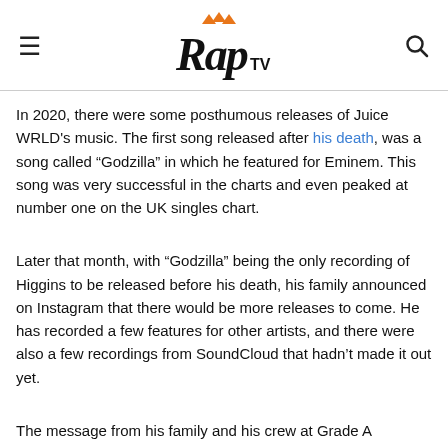Rap TV (logo header with menu and search icons)
In 2020, there were some posthumous releases of Juice WRLD's music. The first song released after his death, was a song called "Godzilla" in which he featured for Eminem. This song was very successful in the charts and even peaked at number one on the UK singles chart.
Later that month, with "Godzilla" being the only recording of Higgins to be released before his death, his family announced on Instagram that there would be more releases to come. He has recorded a few features for other artists, and there were also a few recordings from SoundCloud that hadn't made it out yet.
The message from his family and his crew at Grade A Productions read,